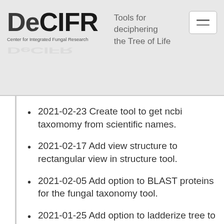DeCIFR — Center for Integrated Fungal Research — Tools for deciphering the Tree of Life
2021-02-23 Create tool to get ncbi taxomomy from scientific names.
2021-02-17 Add view structure to rectangular view in structure tool.
2021-02-05 Add option to BLAST proteins for the fungal taxonomy tool.
2021-01-25 Add option to ladderize tree to Hypha tool
2021-01-24 Add allow multiple files input to Newick to Nexus format tool